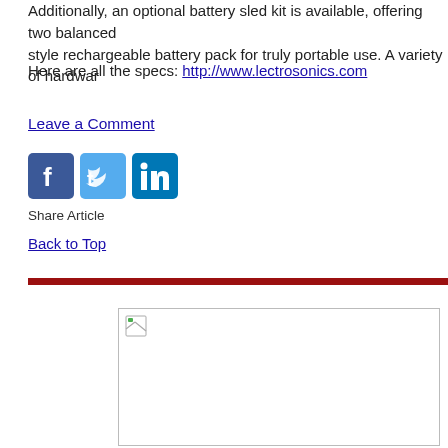Additionally, an optional battery sled kit is available, offering two balanced style rechargeable battery pack for truly portable use. A variety of hardwar
Here are all the specs: http://www.lectrosonics.com
Leave a Comment
[Figure (infographic): Social media share icons: Facebook, Twitter, LinkedIn]
Share Article
Back to Top
[Figure (photo): Broken image placeholder in a bordered box]